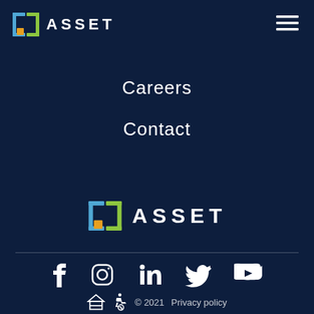[Figure (logo): ASSET company logo with colorful bracket icon and text ASSET in header]
[Figure (other): Hamburger menu icon (three horizontal lines) in top right]
Careers
Contact
[Figure (logo): ASSET company logo centered with colorful bracket icon and text ASSET]
[Figure (other): Social media icons row: Facebook, Instagram, LinkedIn, Twitter, YouTube]
© 2021  Privacy policy